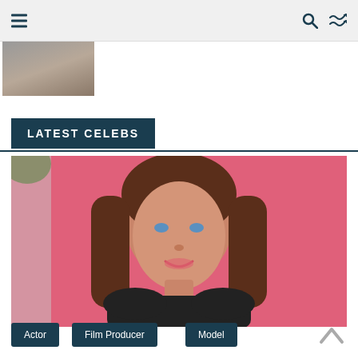Navigation bar with hamburger menu, search icon, and shuffle icon
[Figure (photo): Partial view of a person's photo cropped at the top of the page]
LATEST CELEBS
[Figure (photo): Portrait photo of a young woman with long brown hair and blue eyes, smiling slightly, wearing a black top, against a pink background]
Actor
Film Producer
Model